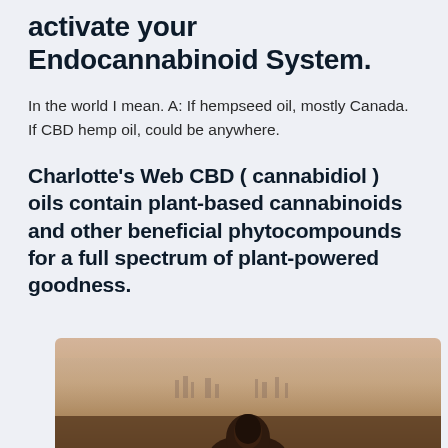activate your Endocannabinoid System.
In the world I mean. A: If hempseed oil, mostly Canada. If CBD hemp oil, could be anywhere.
Charlotte's Web CBD ( cannabidiol ) oils contain plant-based cannabinoids and other beneficial phytocompounds for a full spectrum of plant-powered goodness.
[Figure (photo): A person photographed from behind against a blurred city skyline at dusk, warm tones of orange and brown in the sky.]